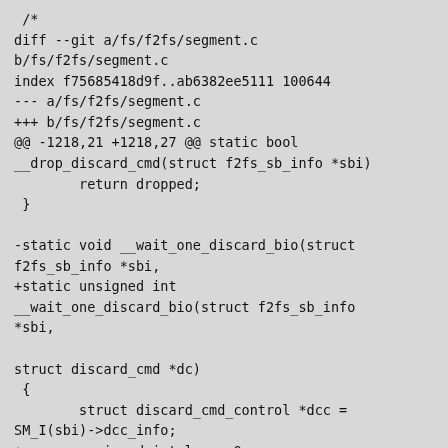/*
diff --git a/fs/f2fs/segment.c b/fs/f2fs/segment.c
index f75685418d9f..ab6382ee5111 100644
--- a/fs/f2fs/segment.c
+++ b/fs/f2fs/segment.c
@@ -1218,21 +1218,27 @@ static bool __drop_discard_cmd(struct f2fs_sb_info *sbi)
        return dropped;
 }

-static void __wait_one_discard_bio(struct f2fs_sb_info *sbi,
+static unsigned int __wait_one_discard_bio(struct f2fs_sb_info *sbi,

struct discard_cmd *dc)
 {
        struct discard_cmd_control *dcc = SM_I(sbi)->dcc_info;
+       unsigned int len = 0;

        wait_for_completion_io(&dc->wait);